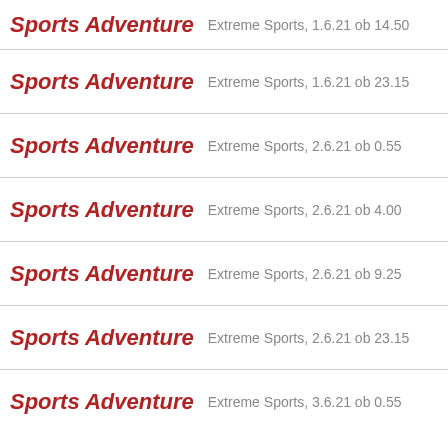Sports Adventure  Extreme Sports, 1.6.21 ob 14.50
Sports Adventure  Extreme Sports, 1.6.21 ob 23.15
Sports Adventure  Extreme Sports, 2.6.21 ob 0.55
Sports Adventure  Extreme Sports, 2.6.21 ob 4.00
Sports Adventure  Extreme Sports, 2.6.21 ob 9.25
Sports Adventure  Extreme Sports, 2.6.21 ob 23.15
Sports Adventure  Extreme Sports, 3.6.21 ob 0.55